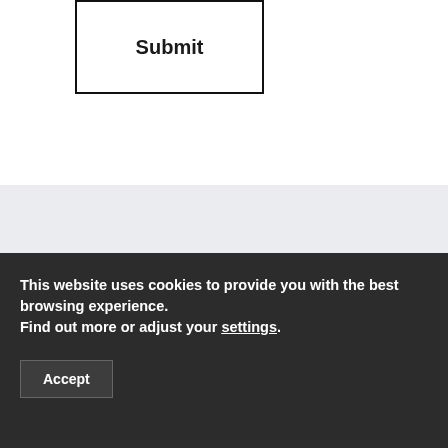[Figure (other): Submit button box with bold 'Submit' text centered inside a rectangular border]
Related content
This website uses cookies to provide you with the best browsing experience.
Find out more or adjust your settings.
Accept